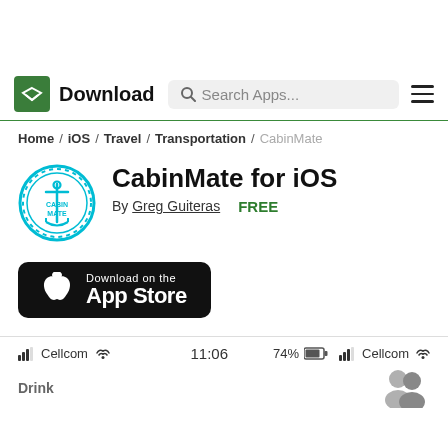Download — Search Apps... [hamburger menu]
Home / iOS / Travel / Transportation / CabinMate
CabinMate for iOS
By Greg Guiteras   FREE
[Figure (screenshot): Download on the App Store button (black rounded rectangle with Apple logo)]
Cellcom  11:06  74%  Cellcom
Drink